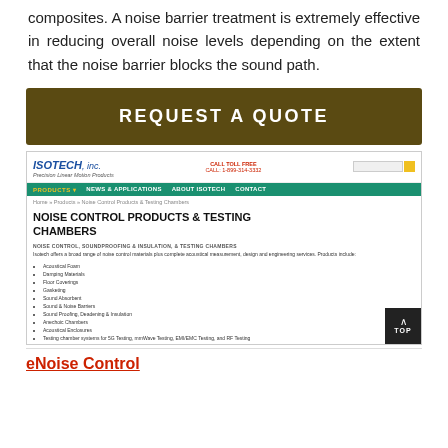composites. A noise barrier treatment is extremely effective in reducing overall noise levels depending on the extent that the noise barrier blocks the sound path.
[Figure (screenshot): Request a Quote button banner with dark olive/brown background and white bold uppercase text]
[Figure (screenshot): Screenshot of Isotech Inc. website showing: logo, toll-free call info, search box, teal navigation bar with Products, News & Applications, About Isotech, Contact links, breadcrumb navigation, page title 'NOISE CONTROL PRODUCTS & TESTING CHAMBERS', content section with noise control products list including Acoustical Foam, Damping Materials, Floor Coverings, Gasketing, Sound Absorbent, Sound & Noise Barriers, Sound Proofing Deadening & Insulation, Anechoic Chambers, Acoustical Enclosures, Testing chamber systems for 5G Testing, mmWave Testing, EMI/EMC Testing, and RF Testing]
eNoise Control